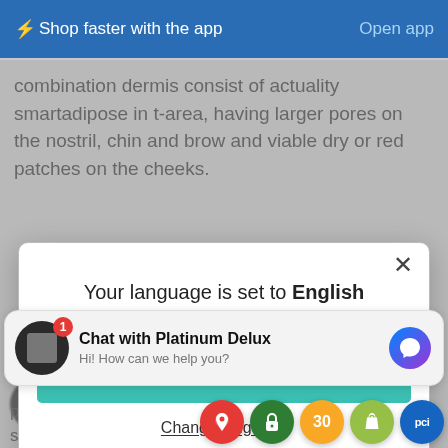⚡Shop faster with the app   Open app
combination dermis consist of actuality smartadipose in t-area, having larger pores on the nostril, chin and brow and viable dry or red patches on the cheeks.
[Figure (screenshot): Modal dialog with text 'Your language is set to English', a teal 'Shop in English' button, and a 'Change language' underlined link. Close X button in top right.]
Chat with Platinum Delux
Hi! How can we help you?
should be littered with dryness and often become cool it